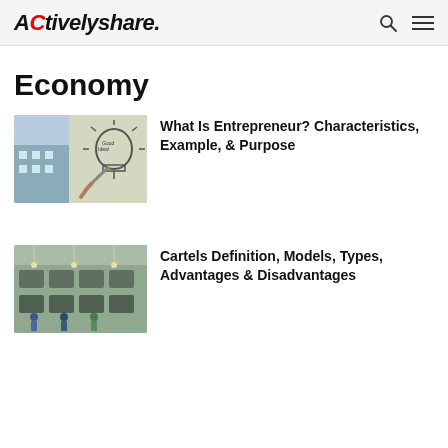ACtivelyshare.
Economy
[Figure (photo): Person drawing a light bulb on glass with 'Good Idea' text, representing entrepreneurship]
What Is Entrepreneur? Characteristics, Example, & Purpose
[Figure (photo): Aerial view of a factory floor with workers and machinery, representing industrial cartels]
Cartels Definition, Models, Types, Advantages & Disadvantages